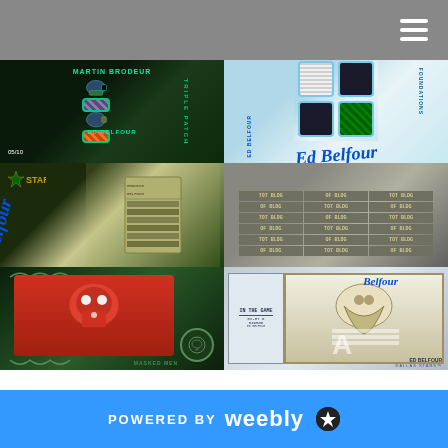Navigation bar with hamburger menu
[Figure (photo): Martin Brodeur / Ed Belfour Triple Patch hockey card, dark green background, two goalie masks, jersey patches, numbered 05/10]
[Figure (photo): Ed Belfour Foundations hockey card with four jersey swatches (white, dark, dark, green) and blue autograph signature]
[Figure (photo): Dallas Stars autograph card with Stars logo and blue cursive signature on green/yellow background]
[Figure (photo): Hockey card back showing stats grid with metallic silver/gold design and repeated stat rows]
[Figure (photo): Masked Men hockey card showing goalie in red jersey, dark green ornate border, Masked Men badge]
[Figure (photo): PSA graded Ed Belfour Dallas Stars card showing eagle graphic and large letter A patch, with autograph - ED BELFOUR DALLAS STARS]
POWERED BY weebly